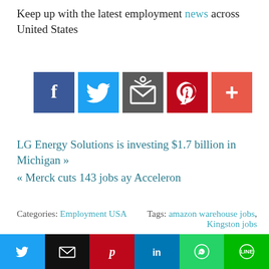Keep up with the latest employment news across United States
[Figure (infographic): Row of social media share buttons: Facebook (blue), Twitter (blue), Email/share (dark gray), Pinterest (red), More/plus (orange-red)]
LG Energy Solutions is investing $1.7 billion in Michigan »
« Merck cuts 143 jobs ay Acceleron
Categories: Employment USA
Tags: amazon warehouse jobs, Kingston jobs
fahad: I am a human resources professional possessing the passion for writing.
[Figure (infographic): Bottom bar with share buttons: Twitter (blue), Email (black), Pinterest (red), LinkedIn (blue), WhatsApp (green), Line (green)]